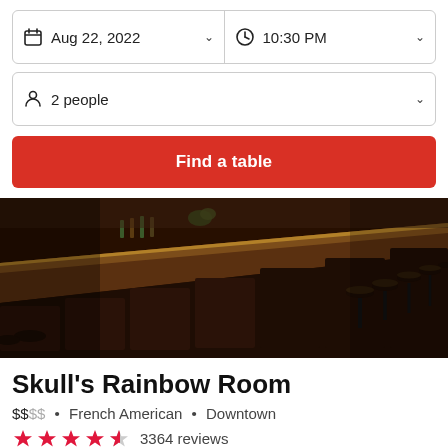Aug 22, 2022 | 10:30 PM
2 people
Find a table
[Figure (photo): Interior photo of a bar with a long dark wooden bar counter, bar stools, and dim warm lighting.]
Skull's Rainbow Room
$$$$ • French American • Downtown
3364 reviews